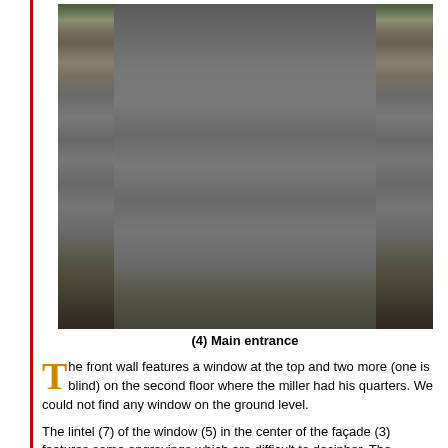[Figure (photo): Photograph of the main entrance of a stone building, showing an old weathered wooden door with iron nails/studs, flanked by stone pillars, with vegetation and weeds at the base.]
(4) Main entrance
The front wall features a window at the top and two more (one is blind) on the second floor where the miller had his quarters. We could not find any window on the ground level.
The lintel (7) of the window (5) in the center of the façade (3) features some engravings which are difficult to decipher. The lettering is unclear and it